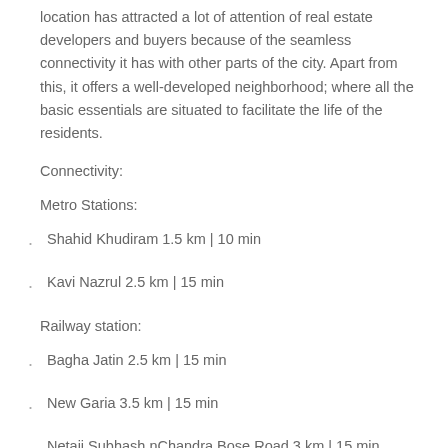location has attracted a lot of attention of real estate developers and buyers because of the seamless connectivity it has with other parts of the city. Apart from this, it offers a well-developed neighborhood; where all the basic essentials are situated to facilitate the life of the residents.
Connectivity:
Metro Stations:
Shahid Khudiram 1.5 km | 10 min
Kavi Nazrul 2.5 km | 15 min
Railway station:
Bagha Jatin 2.5 km | 15 min
New Garia 3.5 km | 15 min
Netaji Subhash nChandra Bose Road 3 km | 15 min